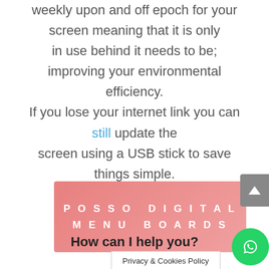weekly upon and off epoch for your screen meaning that it is only in use behind it needs to be; improving your environmental efficiency. If you lose your internet link you can still update the screen using a USB stick to save things simple.
[Figure (other): Pink gradient banner with white bold spaced text reading POSSO DIGITAL MENU BOARDS]
How can I help you?
Privacy & Cookies Policy